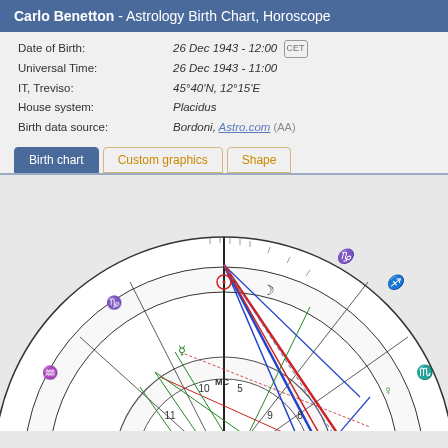Carlo Benetton - Astrology Birth Chart, Horoscope
| Field | Value |
| --- | --- |
| Date of Birth: | 26 Dec 1943 - 12:00  (CET) |
| Universal Time: | 26 Dec 1943 - 11:00 |
| IT, Treviso: | 45°40'N, 12°15'E |
| House system: | Placidus |
| Birth data source: | Bordoni, Astro.com (AA) |
Birth chart | Custom graphics | Shape
[Figure (other): Astrology birth chart wheel showing zodiac signs, house numbers, and planetary positions with aspect lines for Carlo Benetton. The chart includes Capricorn, Sagittarius, Scorpio, Libra, Virgo, Aries, Pisces, Aquarius, Capricorn sectors with planets Sun, Moon, Venus, Mercury visible, house numbers 1-12, MC/ASC/DSC markers, and colored aspect lines (blue, red, green).]